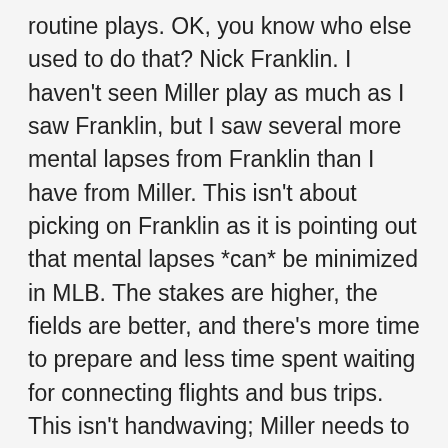routine plays. OK, you know who else used to do that? Nick Franklin. I haven't seen Miller play as much as I saw Franklin, but I saw several more mental lapses from Franklin than I have from Miller. This isn't about picking on Franklin as it is pointing out that mental lapses *can* be minimized in MLB. The stakes are higher, the fields are better, and there's more time to prepare and less time spent waiting for connecting flights and bus trips. This isn't handwaving; Miller needs to work at this, but this a fundamentally different situation from a hitter who has trouble with breaking balls or good velo. This isn't a skills issue. MLB is *brutal* on kids with deficient skills, and it *can* be brutal on those who aren't able to focus 100% of the time. But it's often a good environment to improve focus as well. From what I've seen, he's got plenty of skill to play SS at the big league level, and I